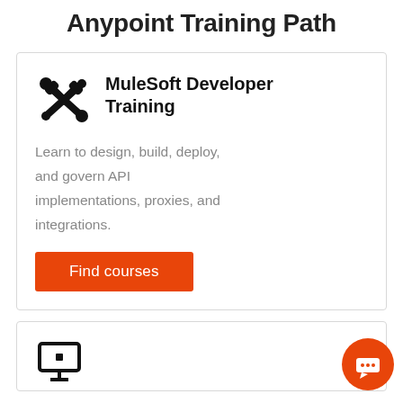Anypoint Training Path
[Figure (infographic): Card with wrench/tools icon and MuleSoft Developer Training title, description text, and Find courses button]
MuleSoft Developer Training
Learn to design, build, deploy, and govern API implementations, proxies, and integrations.
[Figure (other): Orange circular chat/support button icon in bottom-right corner]
[Figure (other): Second card partially visible at bottom with a presentation/screen icon]